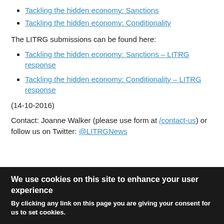Tackling the hidden economy: Sanctions
Tackling the hidden economy: Conditionality
The LITRG submissions can be found here:
Tackling the hidden economy: Sanctions – LITRG response
Tackling the hidden economy: Conditionality – LITRG response
(14-10-2016)
Contact: Joanne Walker (please use form at /contact-us) or follow us on Twitter: @LITRGNews
We use cookies on this site to enhance your user experience
By clicking any link on this page you are giving your consent for us to set cookies.